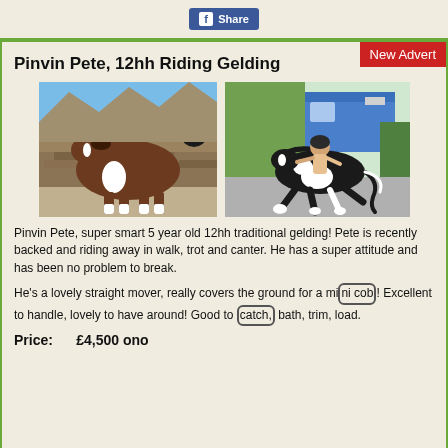[Figure (screenshot): Facebook Share button at top of page]
New Advert
Pinvin Pete, 12hh Riding Gelding
[Figure (photo): Two photos of Pinvin Pete: left shows a brown and white cob horse standing by a stone wall; right shows a black and white pony being ridden on a road]
Pinvin Pete, super smart 5 year old 12hh traditional gelding! Pete is recently backed and riding away in walk, trot and canter. He has a super attitude and has been no problem to break.
He's a lovely straight mover, really covers the ground for a mini cob! Excellent to handle, lovely to have around! Good to catch, bath, trim, load.
Price:        £4,500 ono